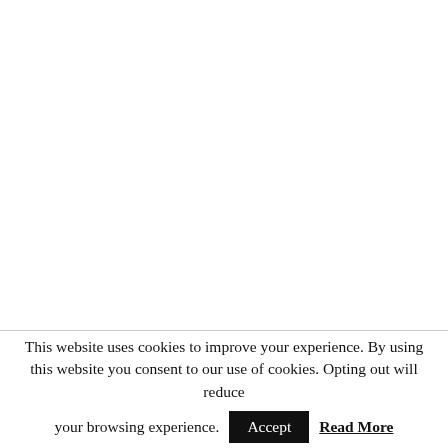This website uses cookies to improve your experience. By using this website you consent to our use of cookies. Opting out will reduce your browsing experience. Accept Read More